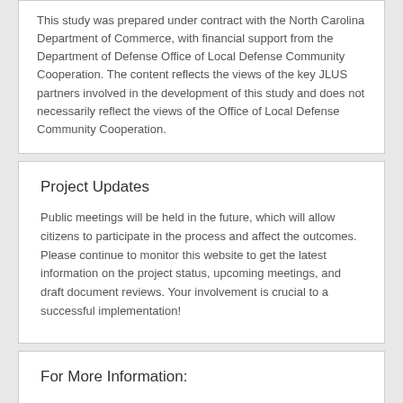This study was prepared under contract with the North Carolina Department of Commerce, with financial support from the Department of Defense Office of Local Defense Community Cooperation. The content reflects the views of the key JLUS partners involved in the development of this study and does not necessarily reflect the views of the Office of Local Defense Community Cooperation.
Project Updates
Public meetings will be held in the future, which will allow citizens to participate in the process and affect the outcomes. Please continue to monitor this website to get the latest information on the project status, upcoming meetings, and draft document reviews. Your involvement is crucial to a successful implementation!
For More Information: